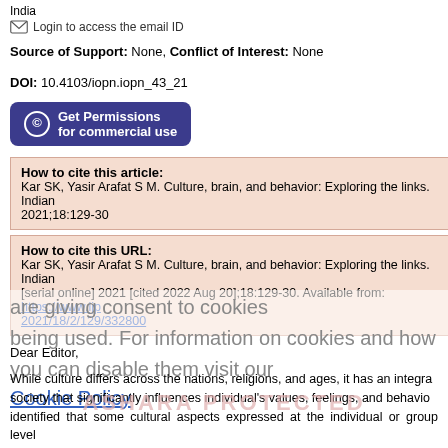India
Login to access the email ID
Source of Support: None, Conflict of Interest: None
DOI: 10.4103/iopn.iopn_43_21
Get Permissions for commercial use
How to cite this article: Kar SK, Yasir Arafat S M. Culture, brain, and behavior: Exploring the links. Indian 2021;18:129-30
How to cite this URL: Kar SK, Yasir Arafat S M. Culture, brain, and behavior: Exploring the links. Indian [serial online] 2021 [cited 2022 Aug 20];18:129-30. Available from: https://www.ijp 2021/18/2/129/332800
Dear Editor,
While culture differs across the nations, religions, and ages, it has an integra society that significantly influences individual's values, feelings, and behavio identified that some cultural aspects expressed at the individual or group level negative aftermath. As behavior is an important construct of mental well-be